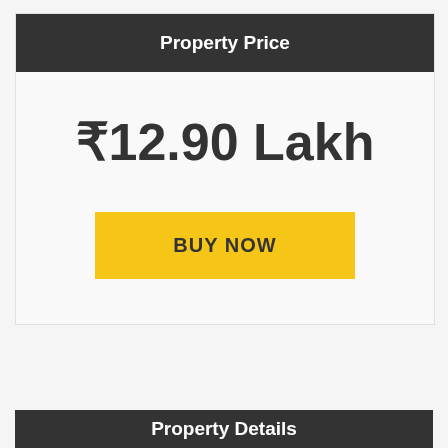Property Price
₹12.90 Lakh
BUY NOW
Property Details